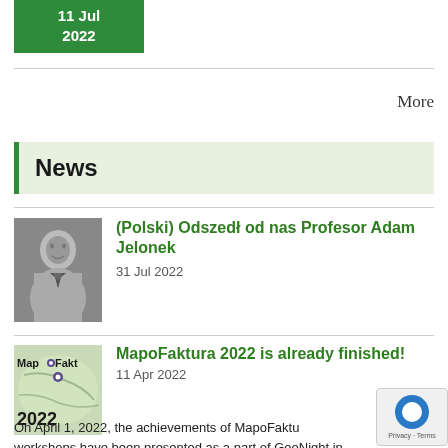11 Jul
2022
More
News
(Polski) Odszedł od nas Profesor Adam Jelonek
31 Jul 2022
[Figure (photo): Black and white portrait photo of a man in a suit and tie]
[Figure (logo): MapoFaktura 2022 logo with map background]
MapoFaktura 2022 is already finished!
11 Apr 2022
On April 1, 2022, the achievements of MapoFaktura workshops have been presented as a part of GeoNight in The event was organized by the students of tourism and the University of Jadon Tombs